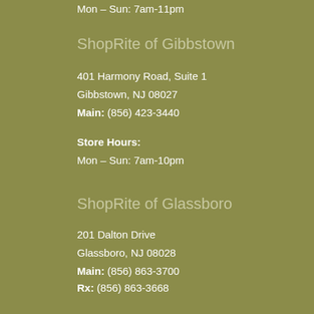Mon – Sun: 7am-11pm
ShopRite of Gibbstown
401 Harmony Road, Suite 1
Gibbstown, NJ 08027
Main: (856) 423-3440
Store Hours:
Mon – Sun: 7am-10pm
ShopRite of Glassboro
201 Dalton Drive
Glassboro, NJ  08028
Main: (856) 863-3700
Rx: (856) 863-3668
Store Hours:
Mon – Sun: 7am-11pm